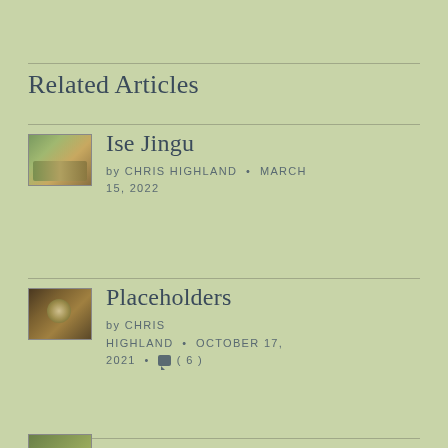Related Articles
Ise Jingu by CHRIS HIGHLAND • MARCH 15, 2022
Placeholders by CHRIS HIGHLAND • OCTOBER 17, 2021 • (6)